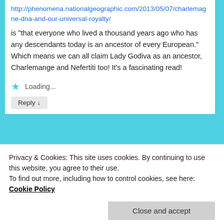http://phenomena.nationalgeographic.com/2013/05/07/charlemagne-dna-and-our-universal-royalty/
is “that everyone who lived a thousand years ago who has any descendants today is an ancestor of every European.” Which means we can all claim Lady Godiva as an ancestor, Charlemange and Nefertiti too! It’s a fascinating read!
Loading...
Reply ↓
MagnoliaSouth on May 9, 2016 at 9:03 pm said:
Privacy & Cookies: This site uses cookies. By continuing to use this website, you agree to their use.
To find out more, including how to control cookies, see here: Cookie Policy
Close and accept